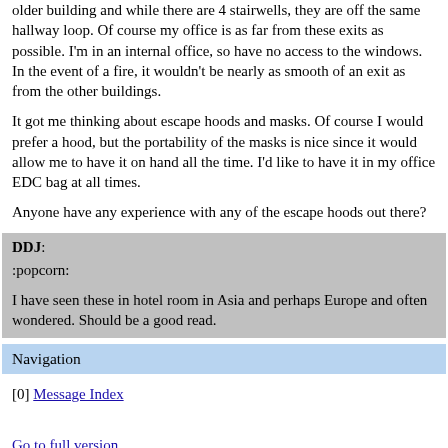older building and while there are 4 stairwells, they are off the same hallway loop.  Of course my office is as far from these exits as possible.  I'm in an internal office, so have no access to the windows.  In the event of a fire, it wouldn't be nearly as smooth of an exit as from the other buildings.
It got me thinking about escape hoods and masks.  Of course I would prefer a hood, but the portability of the masks is nice since it would allow me to have it on hand all the time.  I'd like to have it in my office EDC bag at all times.
Anyone have any experience with any of the escape hoods out there?
DDJ:
:popcorn:

I have seen these in hotel room in Asia and perhaps Europe and often wondered.  Should be a good read.
Navigation
[0] Message Index
Go to full version